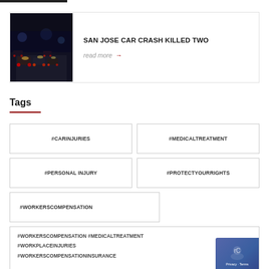[Figure (photo): Night traffic scene showing cars with lights in a city street]
SAN JOSE CAR CRASH KILLED TWO
read more →
Tags
#CARINJURIES
#MEDICALTREATMENT
#PERSONAL INJURY
#PROTECTYOURRIGHTS
#WORKERSCOMPENSATION
#WORKERSCOMPENSATION #MEDICALTREATMENT #WORKPLACEINJURIES #WORKERSCOMPENSATIONINSURANCE